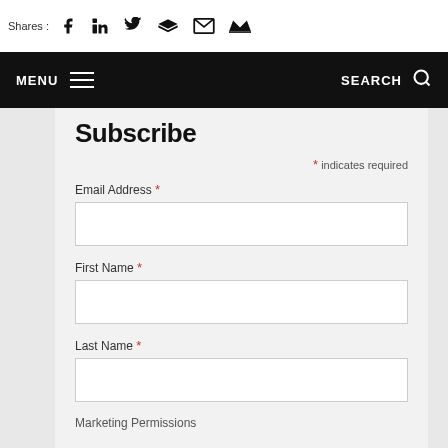Shares  [social icons: Facebook, LinkedIn, Twitter, Buffer, Email, Crown]
MENU  [hamburger]  SEARCH  [search icon]
Subscribe
* indicates required
Email Address *
First Name *
Last Name *
Marketing Permissions